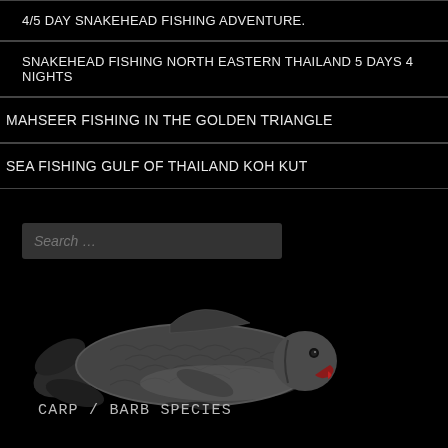4/5 DAY SNAKEHEAD FISHING ADVENTURE.
SNAKEHEAD FISHING NORTH EASTERN THAILAND 5 DAYS 4 NIGHTS
MAHSEER FISHING IN THE GOLDEN TRIANGLE
SEA FISHING GULF OF THAILAND KOH KUT
Search …
[Figure (illustration): A carp/barb fish illustrated on a black background, facing right, with silver-grey scales and a reddish mouth area]
CARP / BARB SPECIES